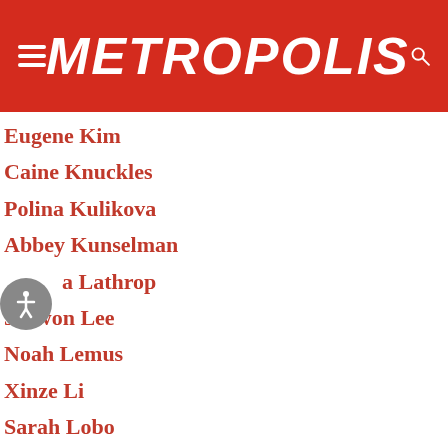METROPOLIS
Eugene Kim
Caine Knuckles
Polina Kulikova
Abbey Kunselman
Lathrop
Jaewon Lee
Noah Lemus
Xinze Li
Sarah Lobo
Becky Lung
Virginia Macoy
Umar Mahmood